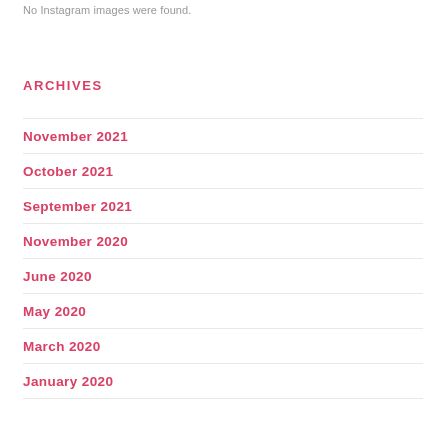No Instagram images were found.
ARCHIVES
November 2021
October 2021
September 2021
November 2020
June 2020
May 2020
March 2020
January 2020